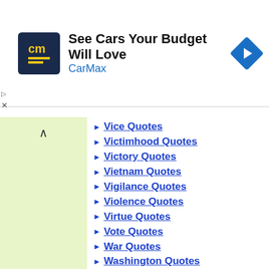[Figure (screenshot): CarMax advertisement banner with logo, headline 'See Cars Your Budget Will Love', brand name 'CarMax', and navigation arrow icon]
Vice Quotes
Victimhood Quotes
Victory Quotes
Vietnam Quotes
Vigilance Quotes
Violence Quotes
Virtue Quotes
Vote Quotes
War Quotes
Washington Quotes
Weakness Quotes
Wealth Quotes
Weapons Quotes
Welfare Quotes
Wellness Quotes
Wisdom Quotes